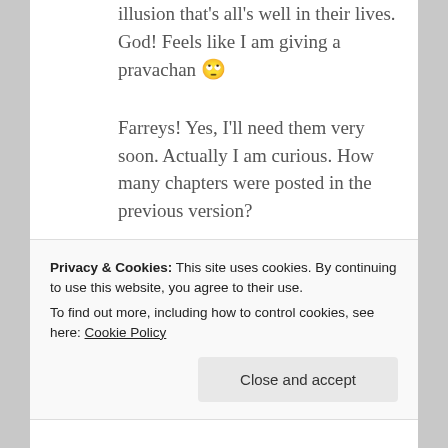illusion that’s all’s well in their lives. God! Feels like I am giving a pravachan 🧐
Farreys! Yes, I’ll need them very soon. Actually I am curious. How many chapters were posted in the previous version?
★ Liked by 2 people
Reply
Privacy & Cookies: This site uses cookies. By continuing to use this website, you agree to their use.
To find out more, including how to control cookies, see here: Cookie Policy